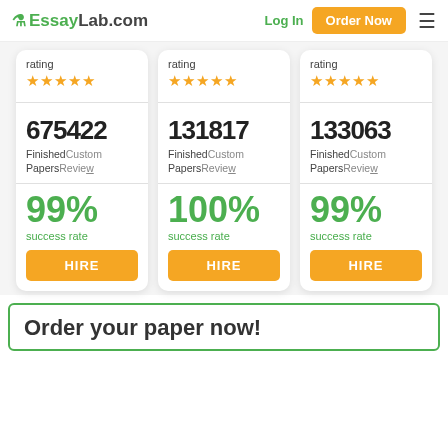EssayLab.com | Log In | Order Now
rating ★★★★★
675422
Finished Papers | Custom Reviews
99%
success rate
HIRE
rating ★★★★★
131817
Finished Papers | Custom Reviews
100%
success rate
HIRE
rating ★★★★★
133063
Finished Papers | Custom Reviews
99%
success rate
HIRE
Order your paper now!